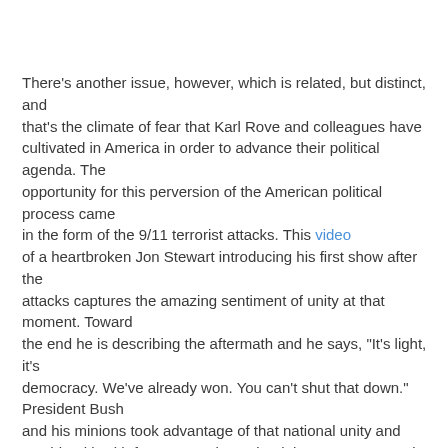There's another issue, however, which is related, but distinct, and that's the climate of fear that Karl Rove and colleagues have cultivated in America in order to advance their political agenda. The opportunity for this perversion of the American political process came in the form of the 9/11 terrorist attacks. This video of a heartbroken Jon Stewart introducing his first show after the attacks captures the amazing sentiment of unity at that moment. Toward the end he is describing the aftermath and he says, "It's light, it's democracy. We've already won. You can't shut that down." President Bush and his minions took advantage of that national unity and combined it with fear-mongering to lead the country to war in